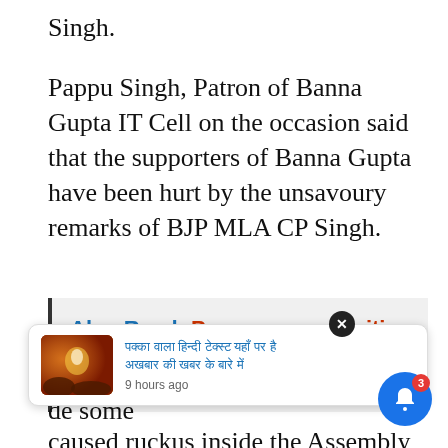Singh.
Pappu Singh, Patron of Banna Gupta IT Cell on the occasion said that the supporters of Banna Gupta have been hurt by the unsavoury remarks of BJP MLA CP Singh.
Also Read: Passenger amenities to be enhanced at Tatanagar: Senior DCM
MLA C P Singh had reportedly made some remarks about Banna Gupta in the Assembly. This has caused ruckus inside the Assembly well too.
[Figure (screenshot): A notification popup showing a Hindi news article with thumbnail image, and a bell notification icon with badge count of 3]